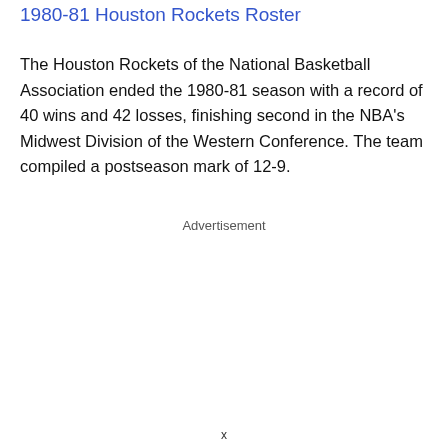1980-81 Houston Rockets Roster
The Houston Rockets of the National Basketball Association ended the 1980-81 season with a record of 40 wins and 42 losses, finishing second in the NBA's Midwest Division of the Western Conference. The team compiled a postseason mark of 12-9.
Advertisement
x